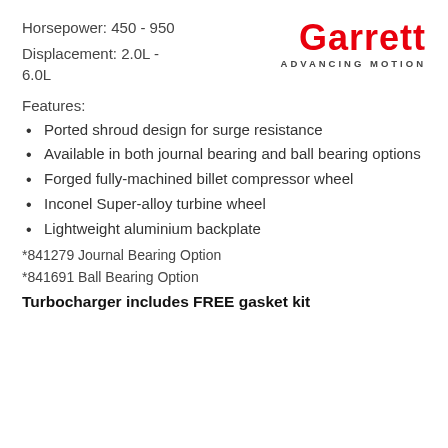Horsepower: 450 - 950
[Figure (logo): Garrett Advancing Motion logo in red and grey]
Displacement: 2.0L - 6.0L
Features:
Ported shroud design for surge resistance
Available in both journal bearing and ball bearing options
Forged fully-machined billet compressor wheel
Inconel Super-alloy turbine wheel
Lightweight aluminium backplate
*841279 Journal Bearing Option
*841691 Ball Bearing Option
Turbocharger includes FREE gasket kit